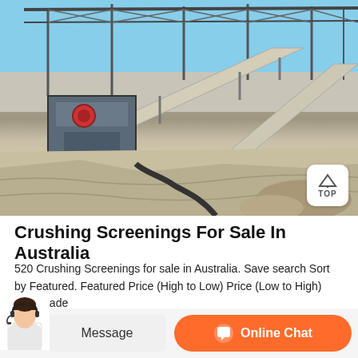[Figure (photo): Industrial crushing and screening plant in Australia. Shows large steel framework/gantry structure with conveyor belts, crushers, and quarry/aggregate processing equipment under a clear blue sky. Rocky ground visible in foreground.]
Crushing Screenings For Sale In Australia
520 Crushing Screenings for sale in Australia. Save search Sort by Featured. Featured Price (High to Low) Price (Low to High) Year Made
[Figure (photo): Customer service agent (woman with headset) and online chat / message call-to-action buttons at the bottom of the page.]